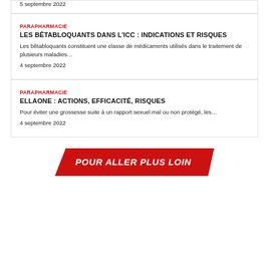5 septembre 2022
PARAPHARMACIE
LES BÊTABLOQUANTS DANS L'ICC : INDICATIONS ET RISQUES
Les bêtabloquants constituent une classe de médicaments utilisés dans le traitement de plusieurs maladies…
4 septembre 2022
PARAPHARMACIE
ELLAONE : ACTIONS, EFFICACITÉ, RISQUES
Pour éviter une grossesse suite à un rapport sexuel mal ou non protégé, les…
4 septembre 2022
[Figure (infographic): Red parallelogram-shaped banner with white bold italic text reading POUR ALLER PLUS LOIN]